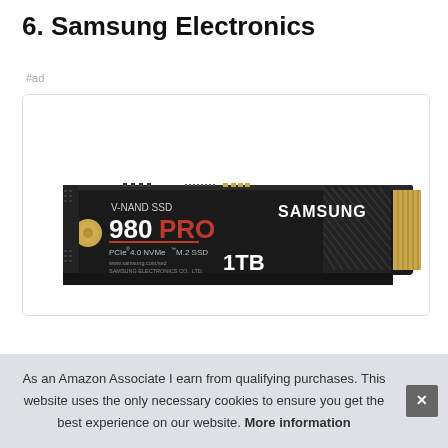6. Samsung Electronics
#ad
[Figure (photo): Samsung 980 PRO V-NAND SSD PCIe 4.0 NVMe M.2 SSD 1TB product photo showing the M.2 form factor drive with black heatsink and gold connector]
As an Amazon Associate I earn from qualifying purchases. This website uses the only necessary cookies to ensure you get the best experience on our website. More information